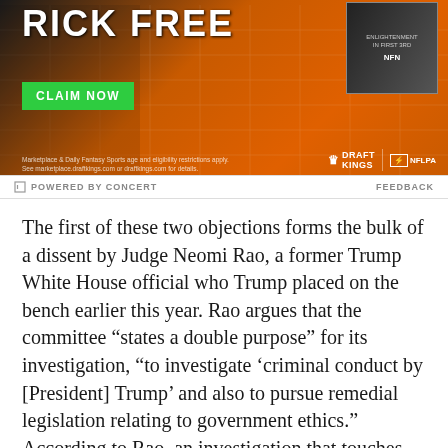[Figure (photo): Advertisement banner for DraftKings NFLPA daily fantasy sports with orange and black background, green CLAIM NOW button, DraftKings and NFLPA logos, and fine print text.]
POWERED BY CONCERT   FEEDBACK
The first of these two objections forms the bulk of a dissent by Judge Neomi Rao, a former Trump White House official who Trump placed on the bench earlier this year. Rao argues that the committee “states a double purpose” for its investigation, “to investigate ‘criminal conduct by [President] Trump’ and also to pursue remedial legislation relating to government ethics.” According to Rao, an investigation that touches upon criminal misconduct by a president must arise in the context of an impeachment inquiry, and this investigation is not part of the ongoing impeachment investigation into